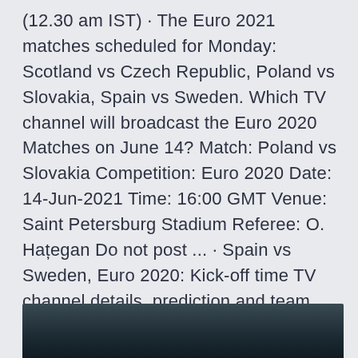(12.30 am IST) · The Euro 2021 matches scheduled for Monday: Scotland vs Czech Republic, Poland vs Slovakia, Spain vs Sweden. Which TV channel will broadcast the Euro 2020 Matches on June 14? Match: Poland vs Slovakia Competition: Euro 2020 Date: 14-Jun-2021 Time: 16:00 GMT Venue: Saint Petersburg Stadium Referee: O. Hațegan Do not post ... · Spain vs Sweden, Euro 2020: Kick-off time TV channel details, prediction and team news , 2:25pm Euros 2020 TV channel schedule: how to watch every 2021 match live Euro 2020 matchday LIVE: Scotland vs Czech Republic, Poland vs Slovakia, Spain vs Sweden updates, news and TV reaction.
[Figure (photo): Dark/night outdoor photo, partially visible at bottom of page]